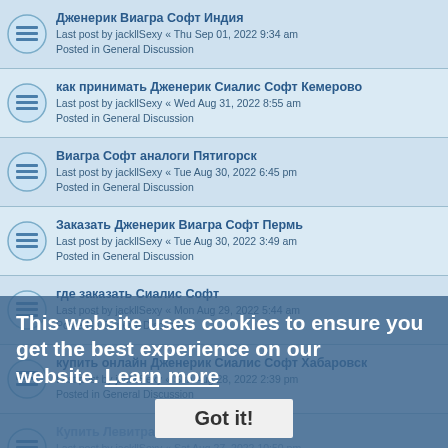Дженерик Виагра Софт Индия
Last post by jackllSexy « Thu Sep 01, 2022 9:34 am
Posted in General Discussion
как принимать Дженерик Сиалис Софт Кемерово
Last post by jackllSexy « Wed Aug 31, 2022 8:55 am
Posted in General Discussion
Виагра Софт аналоги Пятигорск
Last post by jackllSexy « Tue Aug 30, 2022 6:45 pm
Posted in General Discussion
Заказать Дженерик Виагра Софт Пермь
Last post by jackllSexy « Tue Aug 30, 2022 3:49 am
Posted in General Discussion
где заказать Сиалис Софт
Last post by jackllSexy « Mon Aug 29, 2022 5:44 am
Posted in General Discussion
купить онлайн Дженерик Сиалис Софт Хабаровск
Last post by jackllSexy « Sun Aug 28, 2022 2:39 pm
Posted in General Discussion
Купить Левитра Белово
Last post by jackllSexy « Sat Aug 27, 2022 10:50 pm
Posted in General Discussion
заправка картриджей носера
Last post by Marinaspf « Sat Aug 27, 2022 7:22 pm
Posted in Other Development
заправка xerox phaser
This website uses cookies to ensure you get the best experience on our website. Learn more
Got it!